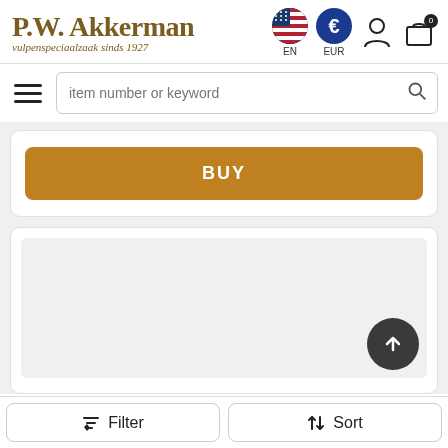[Figure (logo): P.W. Akkerman logo with text 'vulpenspeciaalzaak sinds 1927' in italic]
[Figure (screenshot): Header icons: US flag circle labeled EN, Euro circle labeled EUR, person icon, shopping cart icon with 0 badge]
[Figure (screenshot): Hamburger menu and search input bar with placeholder 'item number or keyword' and search icon]
[Figure (screenshot): BUY button in golden/brown color]
[Figure (screenshot): Product card placeholder with scroll-to-top button]
[Figure (screenshot): Bottom bar with Filter and Sort buttons]